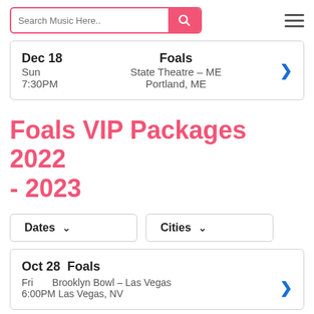Search Music Here..
Dec 18 Foals Sun State Theatre - ME Portland, ME 7:30PM
Foals VIP Packages 2022 - 2023
Dates  Cities
Oct 28 Foals Fri Brooklyn Bowl - Las Vegas Las Vegas, NV 6:00PM